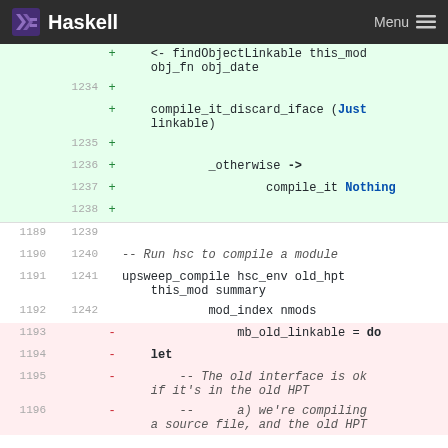Haskell  Menu
Code diff view showing Haskell source changes. Added lines (green): findObjectLinkable this_mod obj_fn obj_date, compile_it_discard_iface (Just linkable), _otherwise ->, compile_it Nothing. Context lines: upsweep_compile hsc_env old_hpt this_mod summary, mod_index nmods. Removed lines (red): mb_old_linkable = do, let, -- The old interface is ok if it's in the old HPT, -- a) we're compiling a source file, and the old HPT